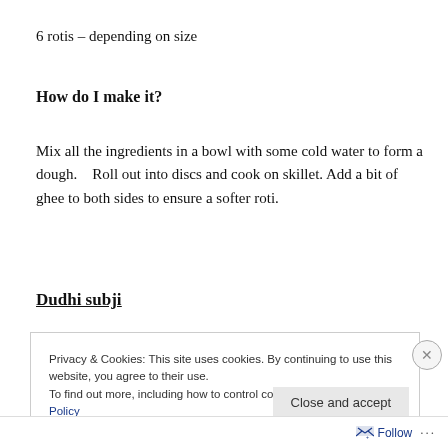6 rotis – depending on size
How do I make it?
Mix all the ingredients in a bowl with some cold water to form a dough.   Roll out into discs and cook on skillet. Add a bit of ghee to both sides to ensure a softer roti.
Dudhi subji
Privacy & Cookies: This site uses cookies. By continuing to use this website, you agree to their use.
To find out more, including how to control cookies, see here: Cookie Policy
Close and accept
Follow ...